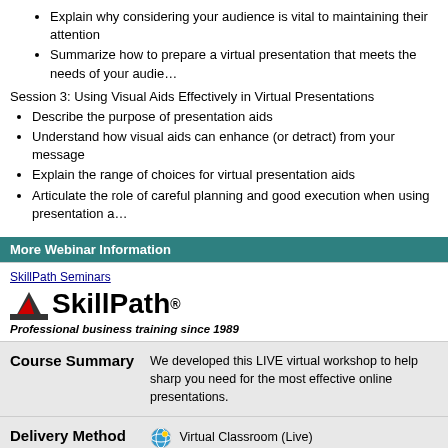Explain why considering your audience is vital to maintaining their attention
Summarize how to prepare a virtual presentation that meets the needs of your audie...
Session 3: Using Visual Aids Effectively in Virtual Presentations
Describe the purpose of presentation aids
Understand how visual aids can enhance (or detract) from your message
Explain the range of choices for virtual presentation aids
Articulate the role of careful planning and good execution when using presentation a...
More Webinar Information
[Figure (logo): SkillPath Seminars logo with tagline 'Professional business training since 1989']
Course Summary
We developed this LIVE virtual workshop to help sharp you need for the most effective online presentations.
Delivery Method
Virtual Classroom (Live)
Who Should Attend
Anyone who must present or speak to a remote or virtu...